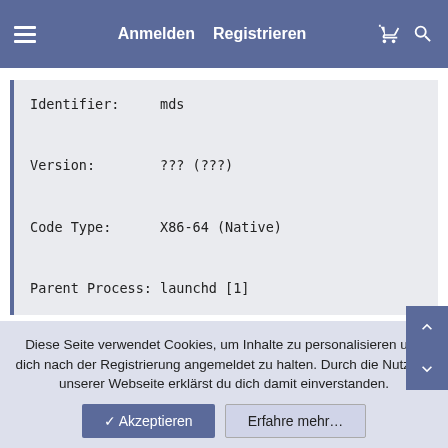Anmelden   Registrieren
Identifier:    mds
Version:       ??? (???)
Code Type:     X86-64 (Native)
Parent Process: launchd [1]
Zuletzt bearbeitet von einem Moderator: 01.07.2021
Diese Seite verwendet Cookies, um Inhalte zu personalisieren und dich nach der Registrierung angemeldet zu halten. Durch die Nutzung unserer Webseite erklärst du dich damit einverstanden.